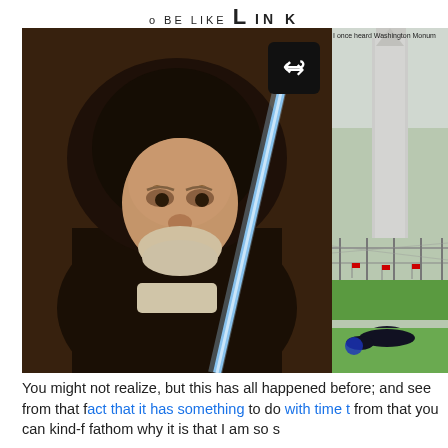o BE LIKE L IN K
[Figure (photo): Obi-Wan Kenobi (Alec Guinness) from Star Wars wearing a dark hooded robe with a blue lightsaber diagonal across the frame. A share/forward arrow icon button is overlaid in the top right corner of the image.]
[Figure (photo): Partial view of the Washington Monument with a chain-link fence in the foreground, green grass, small flags visible, and a person lying on the ground near the fence. Caption text reads: 'I once heard Washington Monument']
You might not realize, but this has all happened before; and see from that fact that it has something to do with time t from that you can kind-f fathom why it is that I am so s